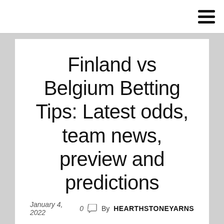Finland vs Belgium Betting Tips: Latest odds, team news, preview and predictions
January 4, 2022   0   By HEARTHSTONEYARNS
class="article_teaser__2t5do">While the Red Devils may rest players after already qualifying for the last-16, Al Hain-Cole still expects them to ease past Kamadava it Possis